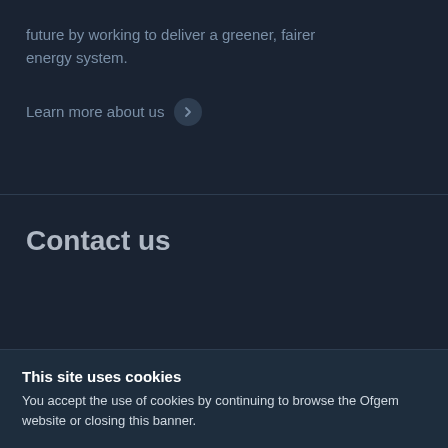future by working to deliver a greener, fairer energy system.
Learn more about us
Contact us
This site uses cookies
You accept the use of cookies by continuing to browse the Ofgem website or closing this banner.
Ok, I agree
Review cookies